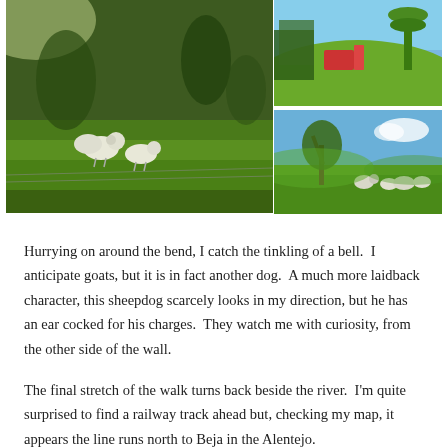[Figure (photo): Three photos arranged in a collage: a large photo on the left showing sheep grazing on a lush green hillside with trees; top-right photo showing colorful playground equipment on a hillside with blue sky; bottom-right photo showing sheep in a green field with olive trees and blue sky.]
Hurrying on around the bend, I catch the tinkling of a bell.  I anticipate goats, but it is in fact another dog.  A much more laidback character, this sheepdog scarcely looks in my direction, but he has an ear cocked for his charges.  They watch me with curiosity, from the other side of the wall.
The final stretch of the walk turns back beside the river.  I'm quite surprised to find a railway track ahead but, checking my map, it appears the line runs north to Beja in the Alentejo.